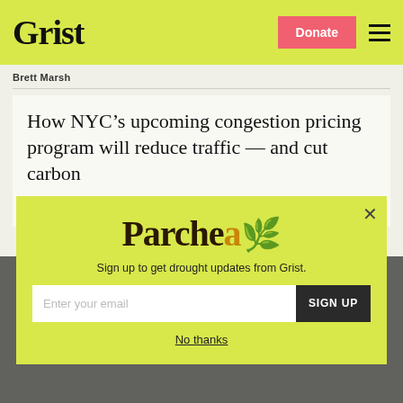Grist | Donate | Menu
Brett Marsh
How NYC’s upcoming congestion pricing program will reduce traffic — and cut carbon
Emily Pontecorvo
[Figure (screenshot): Parchea newsletter signup modal with logo, subtitle 'Sign up to get drought updates from Grist.', email input field, SIGN UP button, and No thanks link.]